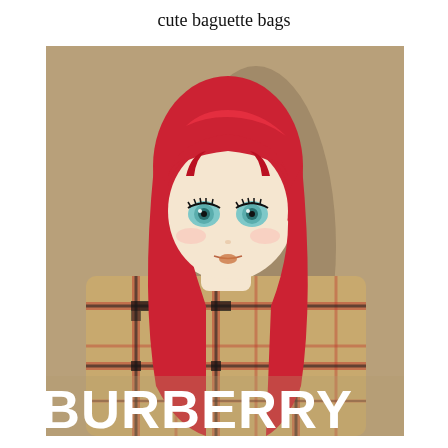cute baguette bags
[Figure (illustration): Anime-style illustration of a girl with long red hair and blue eyes wearing a Burberry plaid shirt/jacket, set against a tan/khaki background. Large white 'BURBERRY' text appears at the bottom of the image.]